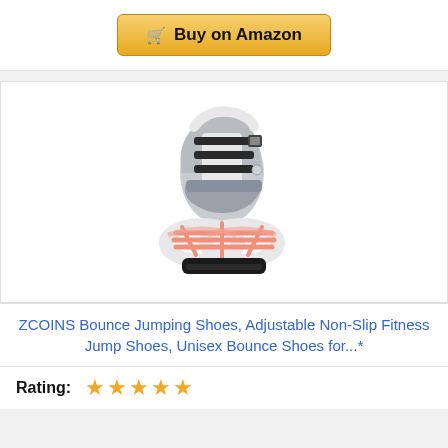[Figure (other): Buy on Amazon button with shopping cart icon, golden/yellow gradient background]
[Figure (photo): ZCOINS bounce jumping shoes product photo — a single shoe with white/silver upper and circular springy white bands with salmon/pink elastic connectors at the base, black sole]
ZCOINS Bounce Jumping Shoes, Adjustable Non-Slip Fitness Jump Shoes, Unisex Bounce Shoes for...*
Rating: ★★★★★